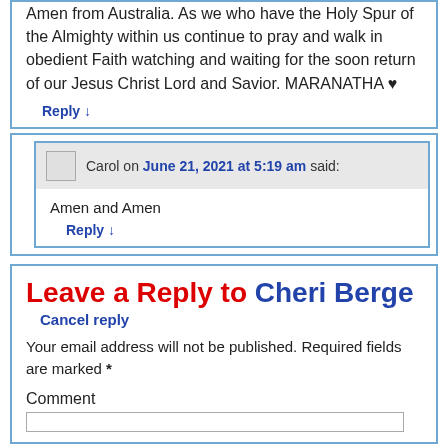Amen from Australia. As we who have the Holy Spur of the Almighty within us continue to pray and walk in obedient Faith watching and waiting for the soon return of our Jesus Christ Lord and Savior. MARANATHA ♥
Reply ↓
Carol on June 21, 2021 at 5:19 am said:
Amen and Amen
Reply ↓
Leave a Reply to Cheri Berge
Cancel reply
Your email address will not be published. Required fields are marked *
Comment